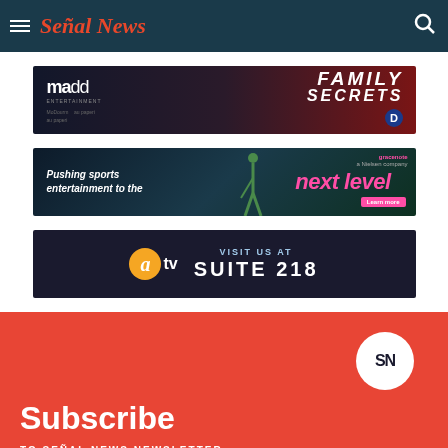Señal News
[Figure (photo): Advertisement banner: madd entertainment with Family Secrets show promotional image on dark red/navy background]
[Figure (photo): Advertisement banner: Gracenote - Pushing sports entertainment to the next level]
[Figure (photo): Advertisement banner: atv - Visit us at Suite 218]
Subscribe
TO SEÑAL NEWS NEWSLETTER